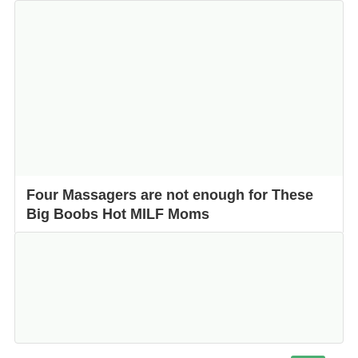[Figure (screenshot): Video thumbnail placeholder area (white/light background, no image visible)]
16:38
Four Massagers are not enough for These Big Boobs Hot MILF Moms
[Figure (screenshot): Second video thumbnail placeholder area (light background, no image visible)]